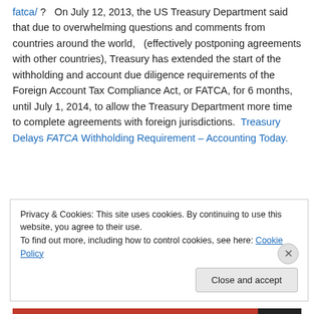fatca/ ?  On July 12, 2013, the US Treasury Department said that due to overwhelming questions and comments from countries around the world,  (effectively postponing agreements with other countries), Treasury has extended the start of the withholding and account due diligence requirements of the Foreign Account Tax Compliance Act, or FATCA, for 6 months, until July 1, 2014, to allow the Treasury Department more time to complete agreements with foreign jurisdictions.  Treasury Delays FATCA Withholding Requirement – Accounting Today.
Privacy & Cookies: This site uses cookies. By continuing to use this website, you agree to their use. To find out more, including how to control cookies, see here: Cookie Policy